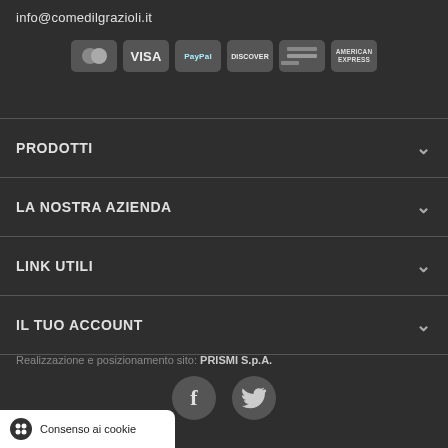info@comedilgrazioli.it
[Figure (other): Payment method icons: Mastercard, Visa, PayPal, Discover, generic card, American Express]
PRODOTTI
LA NOSTRA AZIENDA
LINK UTILI
IL TUO ACCOUNT
Realizzazione e posizionamento sito: PRISMI S.p.A.
[Figure (other): Social media icons: Facebook (f) and Twitter (bird) in circular buttons]
Consenso ai cookie